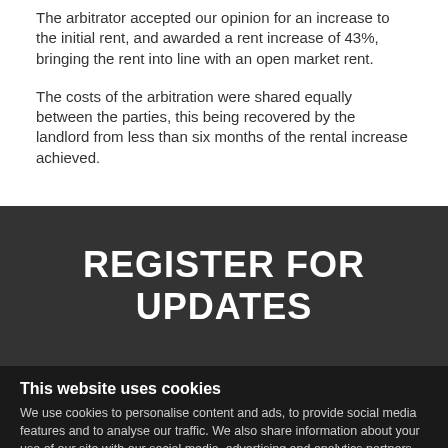The arbitrator accepted our opinion for an increase to the initial rent, and awarded a rent increase of 43%, bringing the rent into line with an open market rent.
The costs of the arbitration were shared equally between the parties, this being recovered by the landlord from less than six months of the rental increase achieved.
REGISTER FOR UPDATES
This website uses cookies
We use cookies to personalise content and ads, to provide social media features and to analyse our traffic. We also share information about your use of our site with our social media, advertising and analytics partners who may combine it with other information that you've provided to them or that they've collected from your use of their services.
Allow all cookies
Allow selection